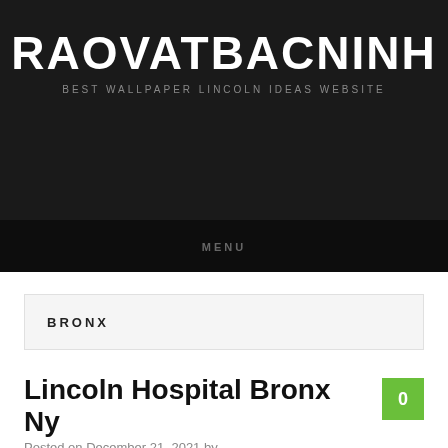RAOVATBACNINH
BEST WALLPAPER LINCOLN IDEAS WEBSITE
MENU
BRONX
Lincoln Hospital Bronx Ny
Posted on December 21, 2021 by